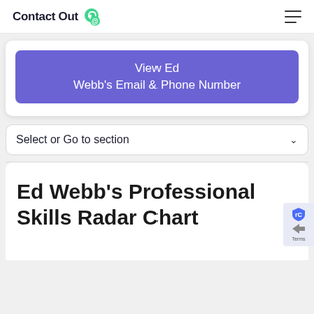ContactOut
View Ed Webb's Email & Phone Number
Select or Go to section
Ed Webb's Professional Skills Radar Chart